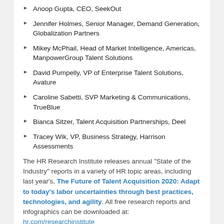Anoop Gupta, CEO, SeekOut
Jennifer Holmes, Senior Manager, Demand Generation, Globalization Partners
Mikey McPhail, Head of Market Intelligence, Americas, ManpowerGroup Talent Solutions
David Pumpelly, VP of Enterprise Talent Solutions, Avature
Caroline Sabetti, SVP Marketing & Communications, TrueBlue
Bianca Sitzer, Talent Acquisition Partnerships, Deel
Tracey Wik, VP, Business Strategy, Harrison Assessments
The HR Research Institute releases annual "State of the Industry" reports in a variety of HR topic areas, including last year's, The Future of Talent Acquisition 2020: Adapt to today's labor uncertainties through best practices, technologies, and agility. All free research reports and infographics can be downloaded at: hr.com/researchinstitute
About HR.com
At HR.com, we are committed to educating HR professionals and helping them build meaningful careers. When it comes to HR, we connect them with everything they need and over 1.92